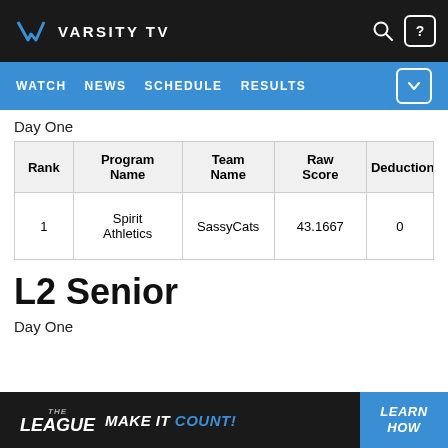VARSITY TV — WATCH | NEWS | SCHEDULE | RESULTS
Day One
| Rank | Program Name | Team Name | Raw Score | Deduction |
| --- | --- | --- | --- | --- |
| 1 | Spirit Athletics | SassyCats | 43.1667 | 0 |
L2 Senior
Day One
THE LEAGUE — MAKE IT COUNT! — LEARN HOW